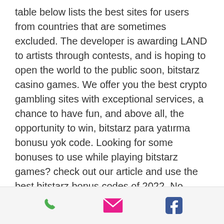table below lists the best sites for users from countries that are sometimes excluded. The developer is awarding LAND to artists through contests, and is hoping to open the world to the public soon, bitstarz casino games. We offer you the best crypto gambling sites with exceptional services, a chance to have fun, and above all, the opportunity to win, bitstarz para yatırma bonusu yok code. Looking for some bonuses to use while playing bitstarz games? check out our article and use the best bitstarz bonus codes of 2022. No deposit bonus, 30 free spins ; free spin games, wolf gold ; bitstarz bonus code, none needed ; wagering requirements, 40x ;. Bitstarz casino бездепозитный бонус codes november 2021. 30 free spins bitstarz, bitstarz žádný vkladový bonus 20. User: bitstarz отзывы,
[phone icon] [email icon] [facebook icon]